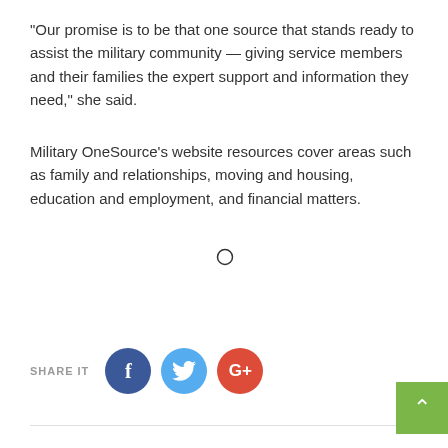“Our promise is to be that one source that stands ready to assist the military community — giving service members and their families the expert support and information they need,” she said.
Military OneSource’s website resources cover areas such as family and relationships, moving and housing, education and employment, and financial matters.
[Figure (other): Loading browser bar with broken image icon and spinner/loading indicators]
SHARE IT
[Figure (infographic): Social media share buttons: Facebook (dark blue circle with f), Twitter (light blue circle with bird icon), Google+ (red circle with G+)]